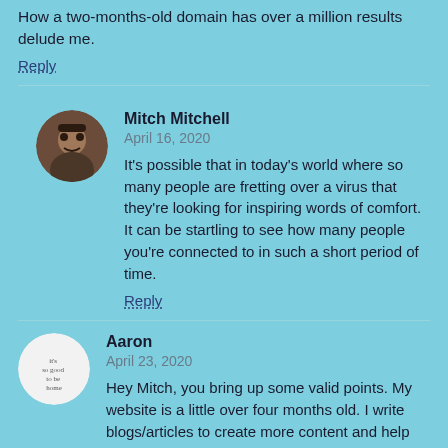How a two-months-old domain has over a million results delude me.
Reply
Mitch Mitchell
April 16, 2020
It's possible that in today's world where so many people are fretting over a virus that they're looking for inspiring words of comfort. It can be startling to see how many people you're connected to in such a short period of time.
Reply
Aaron
April 23, 2020
Hey Mitch, you bring up some valid points. My website is a little over four months old. I write blogs/articles to create more content and help my website rank better, is this a good way to approach being a new business owner?